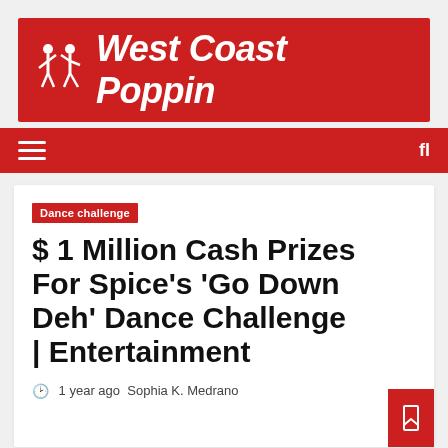[Figure (logo): West Coast Poppin logo with two dancing figures on red background]
Navigation bar with hamburger menu and search icon
Dance challenge
$ 1 Million Cash Prizes For Spice’s ‘Go Down Deh’ Dance Challenge | Entertainment
1 year ago  Sophia K. Medrano